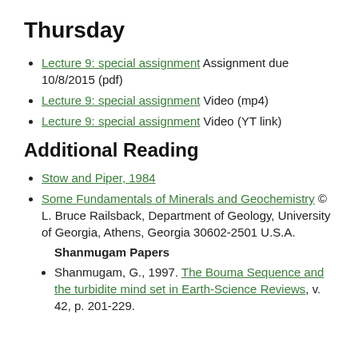Thursday
Lecture 9: special assignment Assignment due 10/8/2015 (pdf)
Lecture 9: special assignment Video (mp4)
Lecture 9: special assignment Video (YT link)
Additional Reading
Stow and Piper, 1984
Some Fundamentals of Minerals and Geochemistry © L. Bruce Railsback, Department of Geology, University of Georgia, Athens, Georgia 30602-2501 U.S.A.
Shanmugam Papers
Shanmugam, G., 1997. The Bouma Sequence and the turbidite mind set in Earth-Science Reviews, v. 42, p. 201-229.